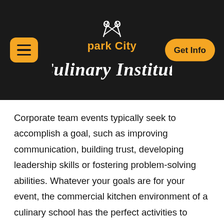park City Culinary Institute — Get Info
Corporate team events typically seek to accomplish a goal, such as improving communication, building trust, developing leadership skills or fostering problem-solving abilities. Whatever your goals are for your event, the commercial kitchen environment of a culinary school has the perfect activities to achieve them.
Corporate Team-Building Ideas for